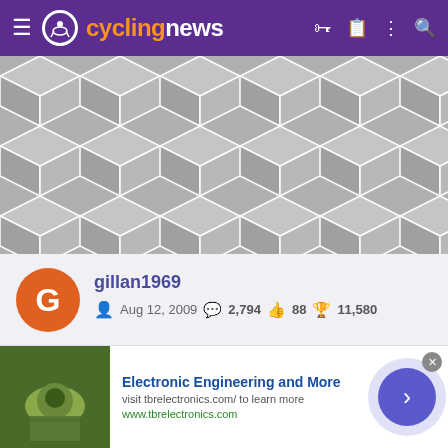cyclingnews
[Figure (illustration): Gray geometric hexagonal/diamond pattern on hero image area]
gillan1969
Aug 12, 2009  2,794  88  11,580
[Figure (infographic): Row of user achievement badges and icons]
[Figure (photo): Advertisement banner: Electronic Engineering and More - visit tbrelectronics.com/ to learn more - www.tbrelectronics.com]